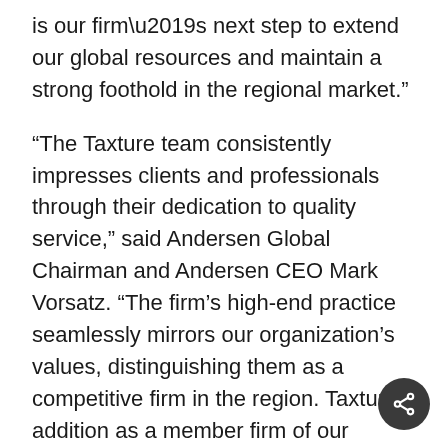is our firm’s next step to extend our global resources and maintain a strong foothold in the regional market.”
“The Taxture team consistently impresses clients and professionals through their dedication to quality service,” said Andersen Global Chairman and Andersen CEO Mark Vorsatz. “The firm’s high-end practice seamlessly mirrors our organization’s values, distinguishing them as a competitive firm in the region. Taxture’s addition as a member firm of our organization is key as we continue to build a benchmark organization with comprehensive global coverage.”
Andersen Global is an international association of legally separate, independent member firms comprised of tax and legal professionals around the world. Established in 2013 by U.S. member firm